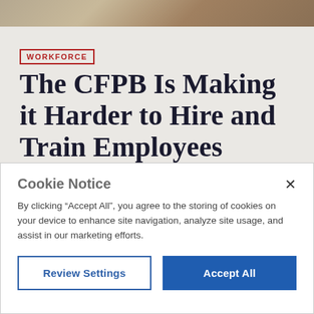[Figure (photo): Top decorative image strip showing outdoor/nature scene in warm tones]
WORKFORCE
The CFPB Is Making it Harder to Hire and Train Employees
The CFPB is targeting a common business practice that makes it easier for employers to find, develop, and retain talent.
Cookie Notice

By clicking “Accept All”, you agree to the storing of cookies on your device to enhance site navigation, analyze site usage, and assist in our marketing efforts.

[Review Settings] [Accept All]